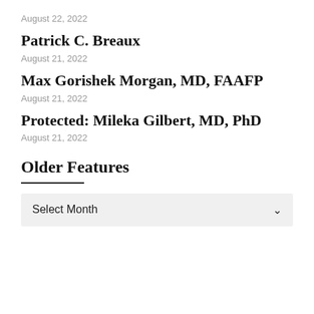August 22, 2022
Patrick C. Breaux
August 21, 2022
Max Gorishek Morgan, MD, FAAFP
August 21, 2022
Protected: Mileka Gilbert, MD, PhD
August 21, 2022
Older Features
Select Month